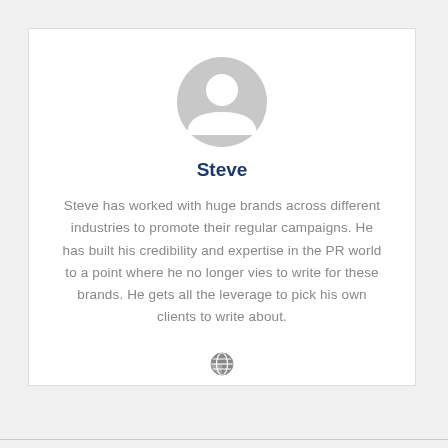[Figure (illustration): Generic grey user avatar silhouette icon — circular head and shoulders shape]
Steve
Steve has worked with huge brands across different industries to promote their regular campaigns. He has built his credibility and expertise in the PR world to a point where he no longer vies to write for these brands. He gets all the leverage to pick his own clients to write about.
[Figure (illustration): Small grey globe/world icon]